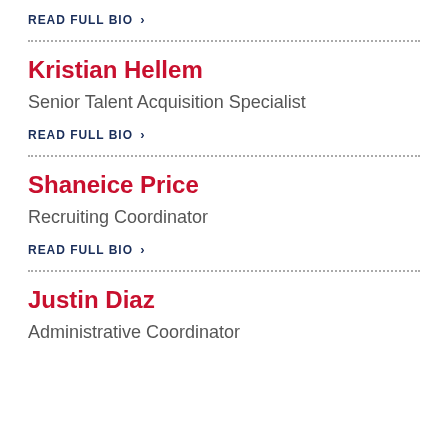READ FULL BIO >
Kristian Hellem
Senior Talent Acquisition Specialist
READ FULL BIO >
Shaneice Price
Recruiting Coordinator
READ FULL BIO >
Justin Diaz
Administrative Coordinator